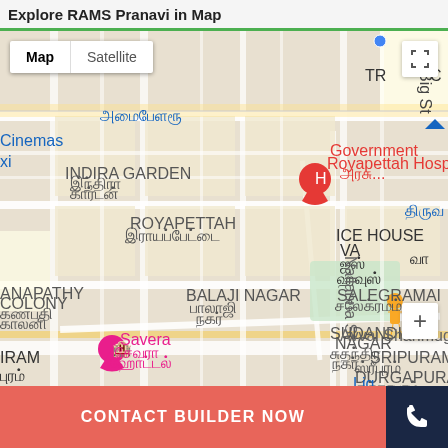Explore RAMS Pranavi in Map
[Figure (map): Google Maps view showing Royapettah area in Chennai, India. Map/Satellite toggle visible at top-left. Landmarks include Government Royapettah Hospital (red pin with H), Savera hotel (pink pin), ICE HOUSE area, Balaji Nagar, Sripuram Durgapuram, Anapathy Colony, Indira Garden. Street labels include Bharathi Salai, Nallanna St, Avvai Shanmugam Salai. Tamil script labels visible throughout. Orange food marker pin visible in center. Street view pegman and zoom controls on right. Fullscreen icon top-right.]
CONTACT BUILDER NOW